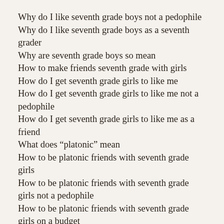Why do I like seventh grade boys not a pedophile
Why do I like seventh grade boys as a seventh grader
Why are seventh grade boys so mean
How to make friends seventh grade with girls
How do I get seventh grade girls to like me
How do I get seventh grade girls to like me not a pedophile
How do I get seventh grade girls to like me as a friend
What does “platonic” mean
How to be platonic friends with seventh grade girls
How to be platonic friends with seventh grade girls not a pedophile
How to be platonic friends with seventh grade girls on a budget
Why are seventh grade girls so mean
How to…